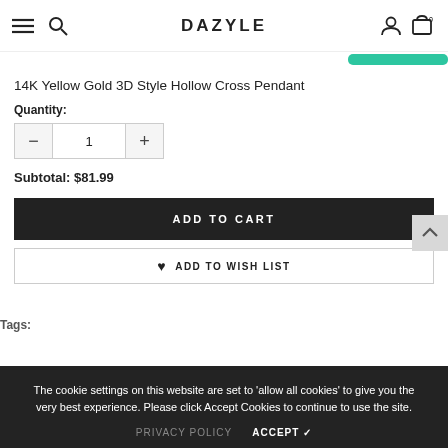DAZYLE
14K Yellow Gold 3D Style Hollow Cross Pendant
Quantity:
Subtotal: $81.99
ADD TO CART
ADD TO WISH LIST
The cookie settings on this website are set to 'allow all cookies' to give you the very best experience. Please click Accept Cookies to continue to use the site.
PRIVACY POLICY
ACCEPT ✔
Tags: